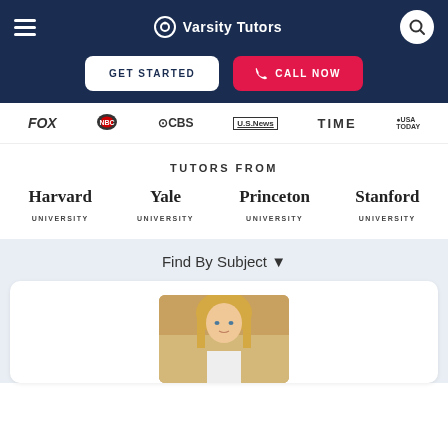Varsity Tutors
[Figure (logo): Navigation bar with hamburger menu, Varsity Tutors logo, and search button on dark navy background with GET STARTED and CALL NOW buttons]
[Figure (logo): Press logos row: FOX, NBC, CBS, U.S. News, TIME, USA TODAY]
TUTORS FROM
Harvard UNIVERSITY  Yale UNIVERSITY  Princeton UNIVERSITY  Stanford UNIVERSITY
Find By Subject ▼
[Figure (photo): Partial photo of a blonde female tutor in a white card]